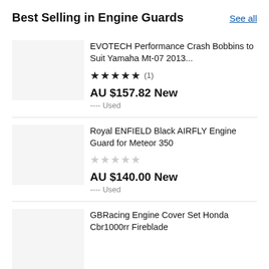Best Selling in Engine Guards
See all
EVOTECH Performance Crash Bobbins to Suit Yamaha Mt-07 2013...
★★★★★ (1)
AU $157.82 New
---- Used
Royal ENFIELD Black AIRFLY Engine Guard for Meteor 350
☆☆☆☆☆
AU $140.00 New
---- Used
GBRacing Engine Cover Set Honda Cbr1000rr Fireblade